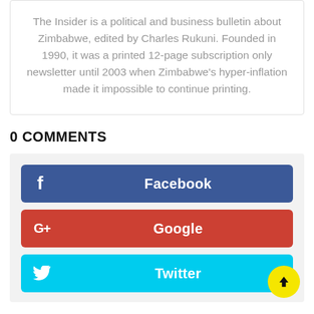The Insider is a political and business bulletin about Zimbabwe, edited by Charles Rukuni. Founded in 1990, it was a printed 12-page subscription only newsletter until 2003 when Zimbabwe's hyper-inflation made it impossible to continue printing.
0 COMMENTS
[Figure (infographic): Social share buttons: Facebook (blue), Google+ (red), Twitter (cyan) with a yellow scroll-to-top arrow button]